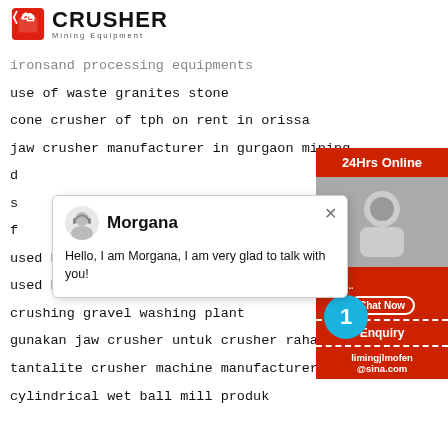[Figure (logo): Crusher Mining Equipment logo with shopping bag icon and bold CRUSHER text]
ironsand processing equipments
use of waste granites stone
cone crusher of tph on rent in orissa
jaw crusher manufacturer in gurgaon mining
d
[Figure (screenshot): Chat popup with avatar of Morgana, text: Hello, I am Morgana, I am very glad to talk with you!]
s
f
used ball mill sale bench top ball mill ball grin
used ball raymondgrinding mill
crushing gravel washing plant
gunakan jaw crusher untuk crusher rahang 20
tantalite crusher machine manufacturer in me
cylindrical wet ball mill produk
[Figure (infographic): Right sidebar with 24Hrs Online badge, Need & suggestions chat area with badge showing 1, Chat Now button, Enquiry section, and limingjlmofen@sina.com email]